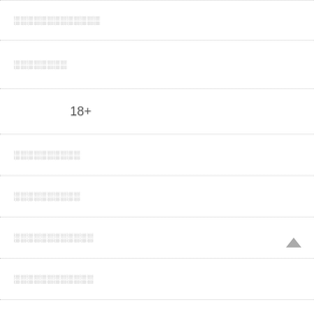░░░░░░░░░░░░░
░░░░░░░░
18+
░░░░░░░░░░
░░░░░░░░░░
░░░░░░░░░░░░
░░░░░░░░░░░░
░░░░░░░░░░
░░░░x